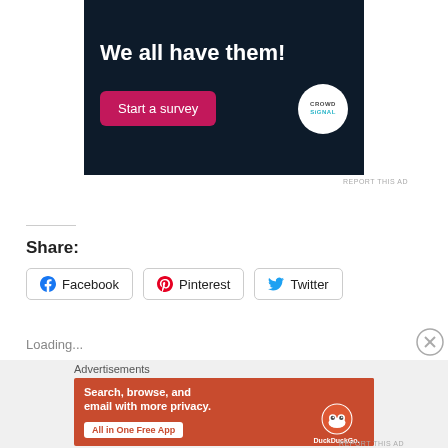[Figure (other): Advertisement banner with dark navy background showing 'We all have them!' text, a pink 'Start a survey' button, and a Crowdsignal logo badge]
REPORT THIS AD
Share:
[Figure (other): Facebook share button with Facebook icon]
[Figure (other): Pinterest share button with Pinterest icon]
[Figure (other): Twitter share button with Twitter icon]
Loading...
Advertisements
[Figure (other): DuckDuckGo advertisement banner on orange background with text 'Search, browse, and email with more privacy. All in One Free App' with phone image]